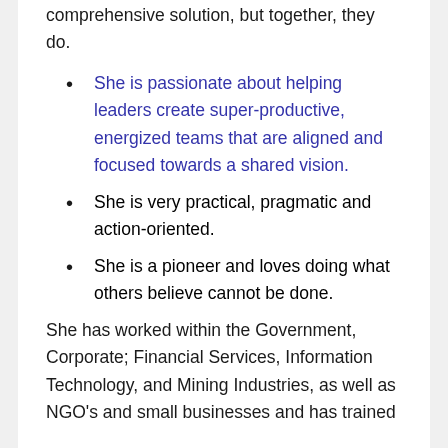comprehensive solution, but together, they do.
She is passionate about helping leaders create super-productive, energized teams that are aligned and focused towards a shared vision.
She is very practical, pragmatic and action-oriented.
She is a pioneer and loves doing what others believe cannot be done.
She has worked within the Government, Corporate; Financial Services, Information Technology, and Mining Industries, as well as NGO's and small businesses and has trained